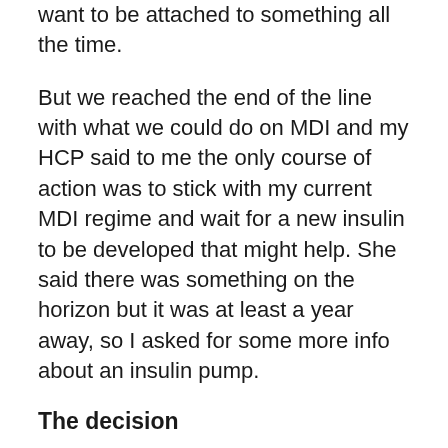immediately dismissed the first because I didn't want to be attached to something all the time.
But we reached the end of the line with what we could do on MDI and my HCP said to me the only course of action was to stick with my current MDI regime and wait for a new insulin to be developed that might help. She said there was something on the horizon but it was at least a year away, so I asked for some more info about an insulin pump.
The decision
I had not quickly changed my mind and decided to try to get a pump but I wanted to see if and how it could help me improve my control. I was given some brochures for Animas, Medtronic